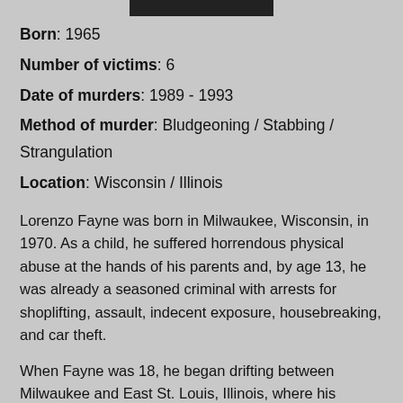[Figure (photo): Black and white photograph at top of page]
Born: 1965
Number of victims: 6
Date of murders: 1989 - 1993
Method of murder: Bludgeoning / Stabbing / Strangulation
Location: Wisconsin / Illinois
Lorenzo Fayne was born in Milwaukee, Wisconsin, in 1970. As a child, he suffered horrendous physical abuse at the hands of his parents and, by age 13, he was already a seasoned criminal with arrests for shoplifting, assault, indecent exposure, housebreaking, and car theft.
When Fayne was 18, he began drifting between Milwaukee and East St. Louis, Illinois, where his grandmother lived.